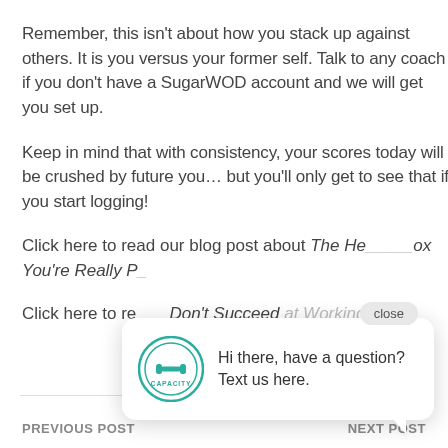Remember, this isn't about how you stack up against others. It is you versus your former self. Talk to any coach if you don't have a SugarWOD account and we will get you set up.
Keep in mind that with consistency, your scores today will be crushed by future you… but you'll only get to see that if you start logging!
Click here to read our blog post about The He___ox You're Really Pa...
Click here to re... Don't Succeed at Working Out
[Figure (screenshot): Chat popup overlay with Capacity logo and text 'Hi there, have a question? Text us here.' with a close button and teal chat button in bottom right corner.]
PREVIOUS POST    NEXT POST